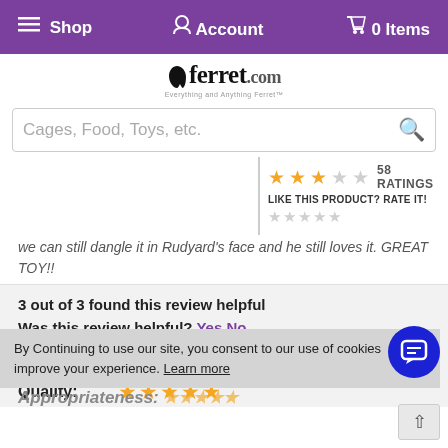Shop   Account   0 Items
[Figure (logo): ferret.com logo with ferret silhouette and tagline]
Cages, Food, Toys, etc. [search bar]
58 RATINGS — LIKE THIS PRODUCT? RATE IT! — 3 filled stars, 2 empty stars
we can still dangle it in Rudyard's face and he still loves it. GREAT TOY!!
3 out of 3 found this review helpful
Was this review helpful? Yes No
Overall: ★★★★★
Quality: ★★★★★
Appropriateness: [stars partially visible]
By Continuing to use our site, you consent to our use of cookies improve your experience. Learn more